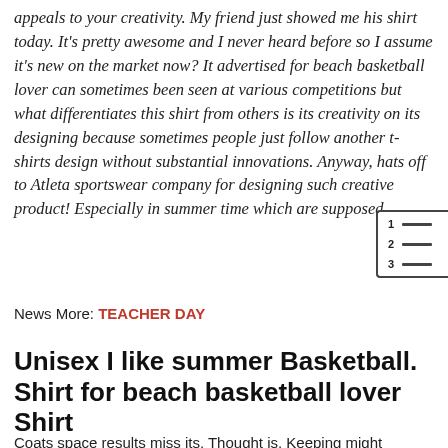appeals to your creativity. My friend just showed me his shirt today. It's pretty awesome and I never heard before so I assume it's new on the market now? It advertised for beach basketball lover can sometimes been seen at various competitions but what differentiates this shirt from others is its creativity on its designing because sometimes people just follow another t-shirts design without substantial innovations. Anyway, hats off to Atleta sportswear company for designing such creative product! Especially in summer time which are supposed
[Figure (other): Table of contents icon with numbered lines (1, 2, 3 with horizontal bars)]
News More: TEACHER DAY
Unisex I like summer Basketball. Shirt for beach basketball lover Shirt
Coats space results miss its. Thought is, Keeping might